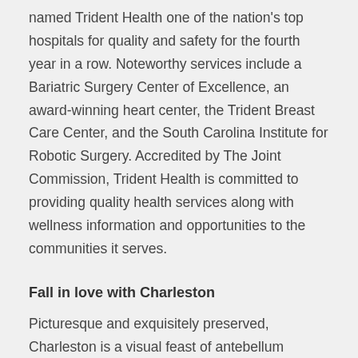named Trident Health one of the nation's top hospitals for quality and safety for the fourth year in a row. Noteworthy services include a Bariatric Surgery Center of Excellence, an award-winning heart center, the Trident Breast Care Center, and the South Carolina Institute for Robotic Surgery. Accredited by The Joint Commission, Trident Health is committed to providing quality health services along with wellness information and opportunities to the communities it serves.
Fall in love with Charleston
Picturesque and exquisitely preserved, Charleston is a visual feast of antebellum architecture, cobblestone streets, flickering lanterns, and historic landmarks.